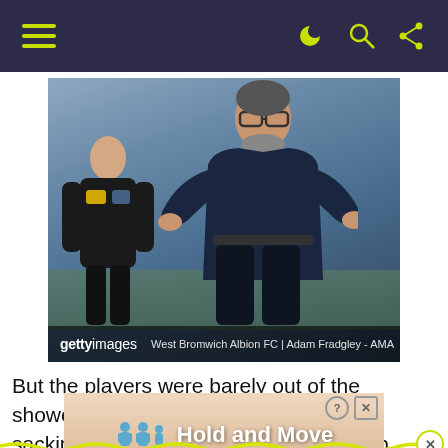Navigation bar with hamburger menu and icons
[Figure (photo): Two men on a football pitch sideline, one gesturing with arms outstretched wearing glasses and a dark jacket, the other in a black Puma tracksuit with West Brom badge. Getty Images watermark with caption: West Bromwich Albion FC | Adam Fradgley - AMA]
But the players were barely out of the showers when reports of his impending sacking were doing the rounds. The club had clearly briefed reporters on the
[Figure (screenshot): Advertisement banner showing Hold and Move app with cartoon figures and info/close buttons]